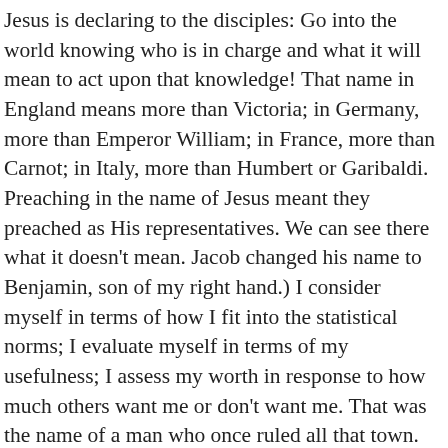Jesus is declaring to the disciples: Go into the world knowing who is in charge and what it will mean to act upon that knowledge! That name in England means more than Victoria; in Germany, more than Emperor William; in France, more than Carnot; in Italy, more than Humbert or Garibaldi. Preaching in the name of Jesus meant they preached as His representatives. We can see there what it doesn't mean. Jacob changed his name to Benjamin, son of my right hand.) I consider myself in terms of how I fit into the statistical norms; I evaluate myself in terms of my usefulness; I assess my worth in response to how much others want me or don't want me. That was the name of a man who once ruled all that town. Heaven has gathered up everything that is worth having. Gregory VI, Sancho of Spain, Conrad I of Germany, Richard I of England, Louis XVI of France, Catharine of Russia-they are mighty names that once made the world tremble; but now, none so poor